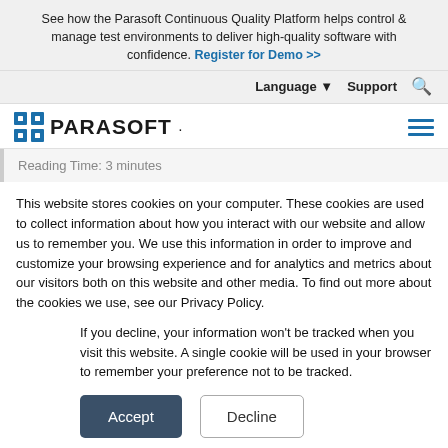See how the Parasoft Continuous Quality Platform helps control & manage test environments to deliver high-quality software with confidence. Register for Demo >>
Language ▼  Support 🔍
[Figure (logo): Parasoft logo with grid icon and wordmark PARASOFT, plus hamburger menu icon]
Reading Time: 3 minutes
This website stores cookies on your computer. These cookies are used to collect information about how you interact with our website and allow us to remember you. We use this information in order to improve and customize your browsing experience and for analytics and metrics about our visitors both on this website and other media. To find out more about the cookies we use, see our Privacy Policy.
If you decline, your information won't be tracked when you visit this website. A single cookie will be used in your browser to remember your preference not to be tracked.